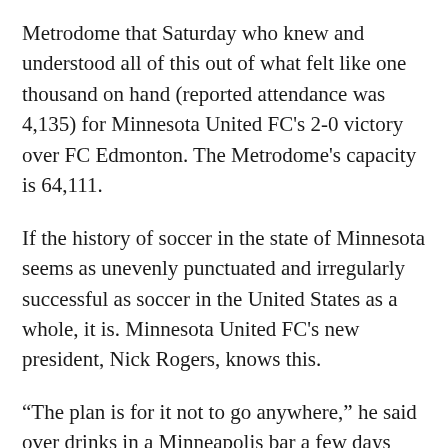Metrodome that Saturday who knew and understood all of this out of what felt like one thousand on hand (reported attendance was 4,135) for Minnesota United FC's 2-0 victory over FC Edmonton. The Metrodome's capacity is 64,111.
If the history of soccer in the state of Minnesota seems as unevenly punctuated and irregularly successful as soccer in the United States as a whole, it is. Minnesota United FC's new president, Nick Rogers, knows this.
“The plan is for it not to go anywhere,” he said over drinks in a Minneapolis bar a few days after their first win. Their season opener had been a nil-nil draw with the San Antonio Scorpions. “Sustainability is the ultimate goal because it hasn’t been stable. We want this to be something that lasts. The plan is to stick around.”